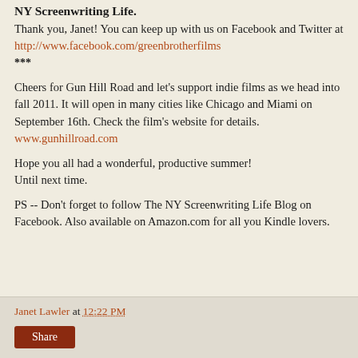NY Screenwriting Life.
Thank you, Janet! You can keep up with us on Facebook and Twitter at http://www.facebook.com/greenbrotherfilms
***
Cheers for Gun Hill Road and let's support indie films as we head into fall 2011. It will open in many cities like Chicago and Miami on September 16th. Check the film's website for details.
www.gunhillroad.com
Hope you all had a wonderful, productive summer!
Until next time.
PS -- Don't forget to follow The NY Screenwriting Life Blog on Facebook. Also available on Amazon.com for all you Kindle lovers.
Janet Lawler at 12:22 PM
Share